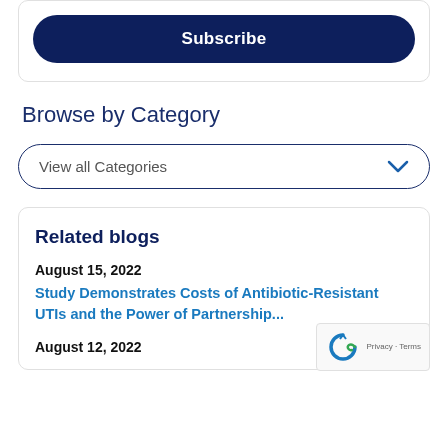[Figure (other): Subscribe button — dark navy rounded rectangle with white bold text 'Subscribe']
Browse by Category
[Figure (other): Dropdown selector with text 'View all Categories' and a chevron arrow on the right, bordered with dark blue rounded border]
Related blogs
August 15, 2022
Study Demonstrates Costs of Antibiotic-Resistant UTIs and the Power of Partnership...
August 12, 2022